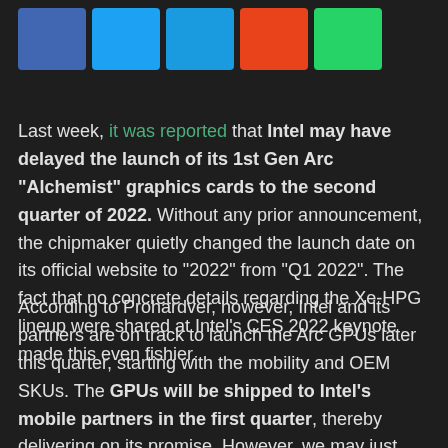[Figure (other): Five social sharing icon buttons in a row: Facebook (blue), Twitter (light blue), another Twitter/share (darker blue), Reddit (orange-red), WhatsApp (green)]
Last week, it was reported that Intel may have delayed the launch of its 1st Gen Arc “Alchemist” graphics cards to the second quarter of 2022. Without any prior announcement, the chipmaker quietly changed the launch date on its official website to “2022” from “Q1 2022”. The fact that no concrete details regarding the Xe-HPG lineup were shared at Intel’s CES 2022 keynote made this even fishier.
According to Prohardver, however, Intel and its partners are on track to launch the Arc GPUs later this quarter, starting with the mobility and OEM SKUs. The GPUs will be shipped to Intel’s mobile partners in the first quarter, thereby delivering on its promise. However, we may just see a paper launch as opposed to an influx of products available in retail stores.